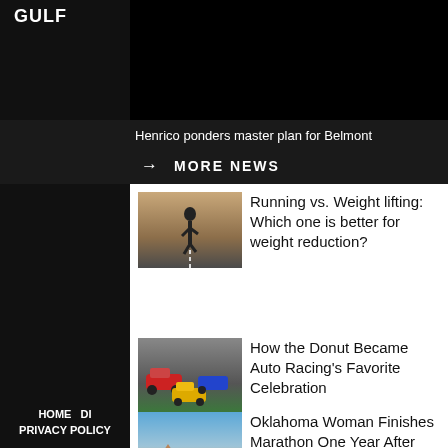GOLF
Henrico ponders master plan for Belmont
→  MORE NEWS
[Figure (photo): Person running on a road, viewed from behind]
Running vs. Weight lifting: Which one is better for weight reduction?
[Figure (photo): NASCAR race cars on a track]
How the Donut Became Auto Racing's Favorite Celebration
[Figure (photo): People running in a desert landscape]
Oklahoma Woman Finishes Marathon One Year After Getting Shot within the Head Twice
HOME  DI...  PRIVACY POLICY